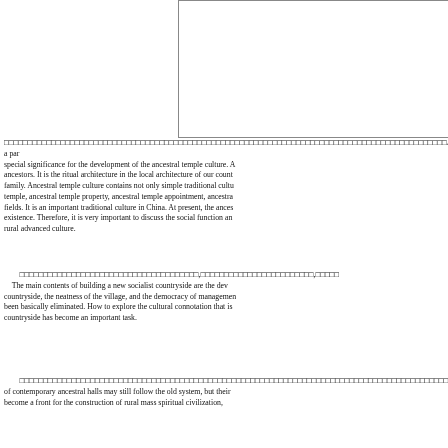[Figure (other): Empty white rectangle with border, likely placeholder for an image]
As a particular form of clan culture, ancestral temple culture has special significance for the development of the ancestral temple culture. Ancestral temple is the memorial hall of ancestors. It is the ritual architecture in the local architecture of our country. It is a special place for Chinese to worship ancestors by family. Ancestral temple culture contains not only simple traditional culture but also ancestral temple building, ancestral temple, ancestral temple property, ancestral temple appointment, ancestral temple activities and other fields. It is an important traditional culture in China. At present, the ancestral temple culture is still in existence. Therefore, it is very important to discuss the social function and value of ancestral temple culture for rural advanced culture.
The main contents of building a new socialist countryside are the development of culture in the countryside, the neatness of the village, and the democracy of management. The illiteracy has been basically eliminated. How to explore the cultural connotation that is suitable for the new socialist countryside has become an important task.
of contemporary ancestral halls may still follow the old system, but their become a front for the construction of rural mass spiritual civilization